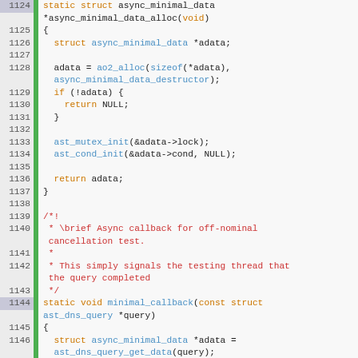[Figure (screenshot): Source code listing in C, lines 1124-1151, showing async_minimal_data_alloc and minimal_callback functions with syntax highlighting. Line numbers on left, green gutter bar, code with orange keywords, blue function names, red comments.]